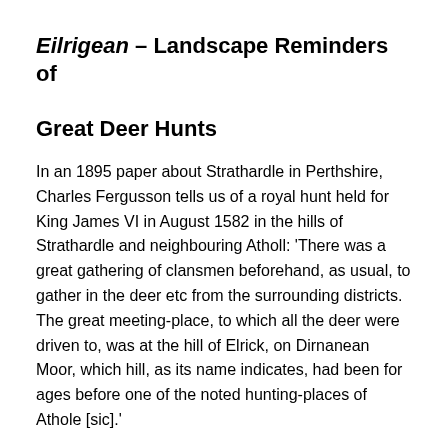Eilrigean – Landscape Reminders of Great Deer Hunts
In an 1895 paper about Strathardle in Perthshire, Charles Fergusson tells us of a royal hunt held for King James VI in August 1582 in the hills of Strathardle and neighbouring Atholl: 'There was a great gathering of clansmen beforehand, as usual, to gather in the deer etc from the surrounding districts. The great meeting-place, to which all the deer were driven to, was at the hill of Elrick, on Dirnanean Moor, which hill, as its name indicates, had been for ages before one of the noted hunting-places of Athole [sic].'
Fergusson knew that his audience, the Gaelic Society of